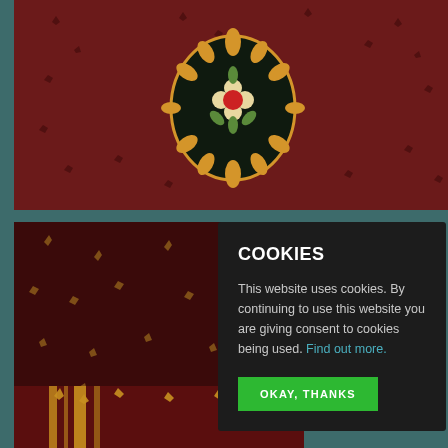[Figure (photo): Deep red/burgundy carpet with floral medallion pattern and scattered small motifs, close-up overhead view]
[Figure (photo): Dark burgundy/maroon carpet with scattered small floral/leaf motifs, close-up overhead view]
[Figure (screenshot): Cookie consent dialog box with dark background overlay]
COOKIES
This website uses cookies. By continuing to use this website you are giving consent to cookies being used. Find out more.
OKAY, THANKS
[Figure (photo): Partial view of a carpet with yellow/gold pattern elements on dark red background]